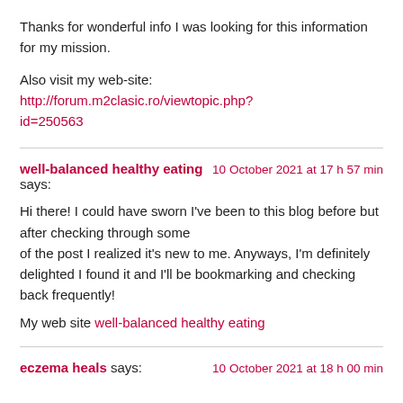Thanks for wonderful info I was looking for this information for my mission.
Also visit my web-site: http://forum.m2clasic.ro/viewtopic.php?id=250563
well-balanced healthy eating says:
10 October 2021 at 17 h 57 min
Hi there! I could have sworn I've been to this blog before but after checking through some of the post I realized it's new to me. Anyways, I'm definitely delighted I found it and I'll be bookmarking and checking back frequently!
My web site well-balanced healthy eating
eczema heals says:
10 October 2021 at 18 h 00 min